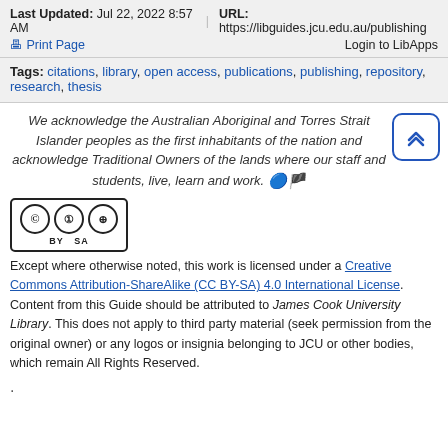Last Updated: Jul 22, 2022 8:57 AM   URL: https://libguides.jcu.edu.au/publishing
🖨 Print Page   Login to LibApps
Tags: citations, library, open access, publications, publishing, repository, research, thesis
We acknowledge the Australian Aboriginal and Torres Strait Islander peoples as the first inhabitants of the nation and acknowledge Traditional Owners of the lands where our staff and students, live, learn and work.
[Figure (logo): Creative Commons Attribution-ShareAlike license logo (CC BY SA)]
Except where otherwise noted, this work is licensed under a Creative Commons Attribution-ShareAlike (CC BY-SA) 4.0 International License. Content from this Guide should be attributed to James Cook University Library. This does not apply to third party material (seek permission from the original owner) or any logos or insignia belonging to JCU or other bodies, which remain All Rights Reserved.